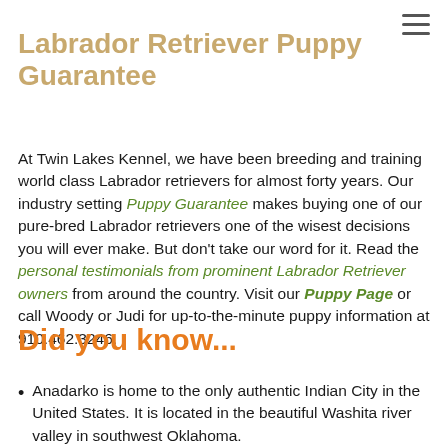Labrador Retriever Puppy Guarantee
At Twin Lakes Kennel, we have been breeding and training world class Labrador retrievers for almost forty years. Our industry setting Puppy Guarantee makes buying one of our pure-bred Labrador retrievers one of the wisest decisions you will ever make. But don't take our word for it. Read the personal testimonials from prominent Labrador Retriever owners from around the country. Visit our Puppy Page or call Woody or Judi for up-to-the-minute puppy information at 910.462.3246.
Did you know...
Anadarko is home to the only authentic Indian City in the United States. It is located in the beautiful Washita river valley in southwest Oklahoma.